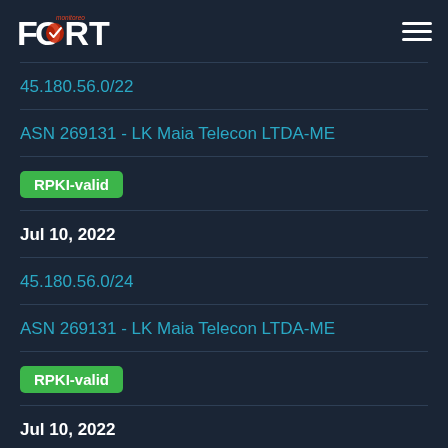FORT monitoreo — navigation header
45.180.56.0/22
ASN 269131 - LK Maia Telecon LTDA-ME
RPKI-valid
Jul 10, 2022
45.180.56.0/24
ASN 269131 - LK Maia Telecon LTDA-ME
RPKI-valid
Jul 10, 2022